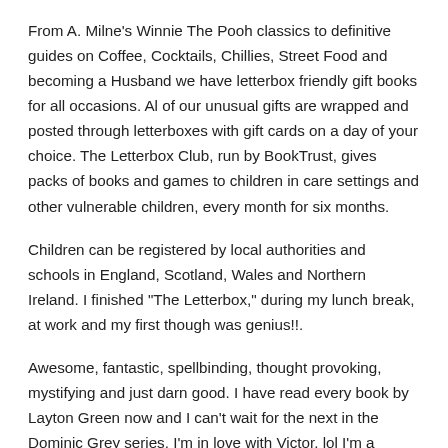From A. Milne's Winnie The Pooh classics to definitive guides on Coffee, Cocktails, Chillies, Street Food and becoming a Husband we have letterbox friendly gift books for all occasions. Al of our unusual gifts are wrapped and posted through letterboxes with gift cards on a day of your choice. The Letterbox Club, run by BookTrust, gives packs of books and games to children in care settings and other vulnerable children, every month for six months.
Children can be registered by local authorities and schools in England, Scotland, Wales and Northern Ireland. I finished "The Letterbox," during my lunch break, at work and my first though was genius!!.
Awesome, fantastic, spellbinding, thought provoking, mystifying and just darn good. I have read every book by Layton Green now and I can't wait for the next in the Dominic Grey series. I'm in love with Victor. lol I'm a forever fan!/5(56).
Through the letterbox book 2 A collection of original artist's postcards sent by post. Some humorous, some serious, some way out weird, all most interesting. Through the letterbox book About the Letterbox Club.